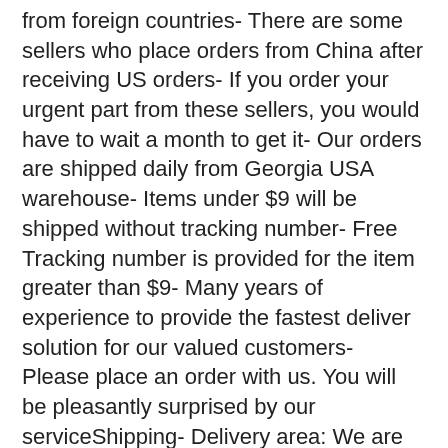from foreign countries- There are some sellers who place orders from China after receiving US orders- If you order your urgent part from these sellers, you would have to wait a month to get it- Our orders are shipped daily from Georgia USA warehouse- Items under $9 will be shipped without tracking number- Free Tracking number is provided for the item greater than $9- Many years of experience to provide the fastest deliver solution for our valued customers- Please place an order with us. You will be pleasantly surprised by our serviceShipping- Delivery area: We are only shipping within 48 continental United States.- Delivery method: USPS Priority & USPS First Class. Choose Priority for fast delivery. - Handling time: 1 business day after receiving payment. If USPS is open, we are open too.- Not all our items are shipped with the tracking number.- Buyers are responsible to provide us with the correct address. Please confirm your address.Handling And Return- We accept return within 14 days after delivery.- Defective items will be exchanged or fully refunded on buyers request.- 15% restocking fee will be charged on non defective items. - All items need to be returned in original package with all the supplies.- Shipping and handling fees are non-refundable under any circumstances. - Our goal is 100% customer satisfaction.- Got a problem? No Problem.